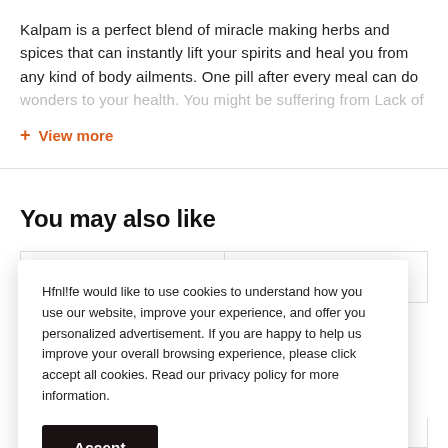Kalpam is a perfect blend of miracle making herbs and spices that can instantly lift your spirits and heal you from any kind of body ailments. One pill after every meal can do wonders to your health. You might be suffering from Lack of
+ View more
You may also like
Hfnl!fe would like to use cookies to understand how you use our website, improve your experience, and offer you personalized advertisement. If you are happy to help us improve your overall browsing experience, please click accept all cookies. Read our privacy policy for more information.